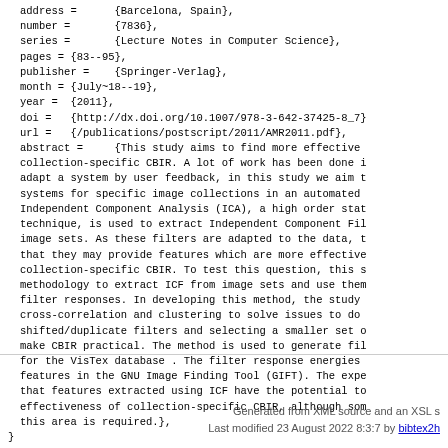address =      {Barcelona, Spain},
number =       {7836},
series =       {Lecture Notes in Computer Science},
pages = {83--95},
publisher =    {Springer-Verlag},
month = {July~18--19},
year =  {2011},
doi =   {http://dx.doi.org/10.1007/978-3-642-37425-8_7}
url =   {/publications/postscript/2011/AMR2011.pdf},
abstract =     {This study aims to find more effective collection-specific CBIR. A lot of work has been done i adapt a system by user feedback, in this study we aim t systems for specific image collections in an automated Independent Component Analysis (ICA), a high order stat technique, is used to extract Independent Component Fil image sets. As these filters are adapted to the data, t that they may provide features which are more effective collection-specific CBIR. To test this question, this s methodology to extract ICF from image sets and use them filter responses. In developing this method, the study cross-correlation and clustering to solve issues to do shifted/duplicate filters and selecting a smaller set o make CBIR practical. The method is used to generate fil for the VisTex database . The filter response energies features in the GNU Image Finding Tool (GIFT). The expe that features extracted using ICF have the potential to effectiveness of collection-specific CBIR, although som this area is required.},
}
Generated from XML source and an XSL s
Last modified 23 August 2022 8:3:7 by bibtex2h